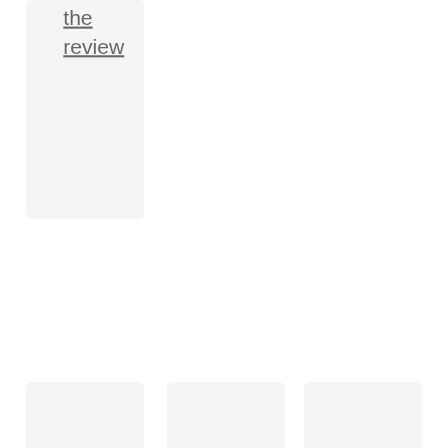the review
[Figure (logo): PDF Expert app icon - red rounded square with eye and PDF label]
PDF Exp
Read, annotate and
[Figure (logo): Texpad app icon - orange rounded square with stylized t flag symbol]
Tex
Save 20% Off on
[Figure (logo): PDF editor app icon - dark blue rounded square with P square symbol]
PDF
The easiest PDF editor